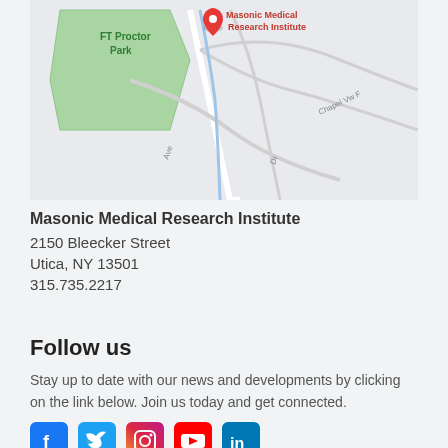[Figure (map): Google Maps screenshot showing location of Masonic Medical Research Institute near FT Proctor Park, Utica NY, with a red map pin marker and road labels including Chapel Vw and Ave.]
Masonic Medical Research Institute
2150 Bleecker Street
Utica, NY 13501
315.735.2217
Follow us
Stay up to date with our news and developments by clicking on the link below. Join us today and get connected.
[Figure (illustration): Row of social media icons: Facebook (blue), Twitter (light blue), Instagram (gradient pink/red), YouTube (red), LinkedIn (blue)]